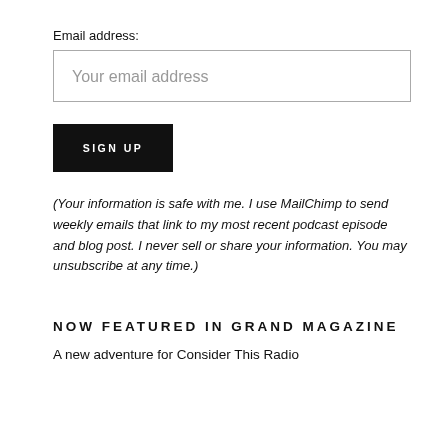Email address:
[Figure (other): Email address input field with placeholder text 'Your email address']
[Figure (other): Black 'SIGN UP' button]
(Your information is safe with me. I use MailChimp to send weekly emails that link to my most recent podcast episode and blog post. I never sell or share your information. You may unsubscribe at any time.)
NOW FEATURED IN GRAND MAGAZINE
A new adventure for Consider This Radio